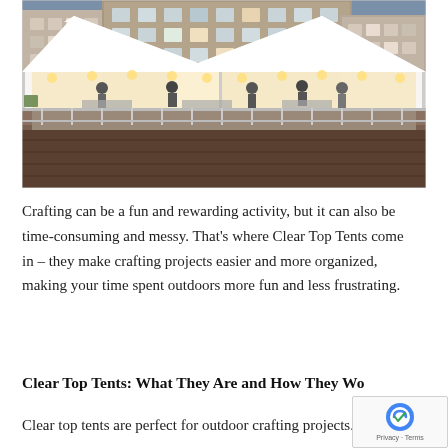[Figure (photo): Outdoor event under two large white clear-top tents on a deck/platform, with string lights illuminating people gathered inside. Buildings visible in the background at dusk.]
Crafting can be a fun and rewarding activity, but it can also be time-consuming and messy. That's where Clear Top Tents come in – they make crafting projects easier and more organized, making your time spent outdoors more fun and less frustrating.
Clear Top Tents: What They Are and How They Wo...
Clear top tents are perfect for outdoor crafting projects.